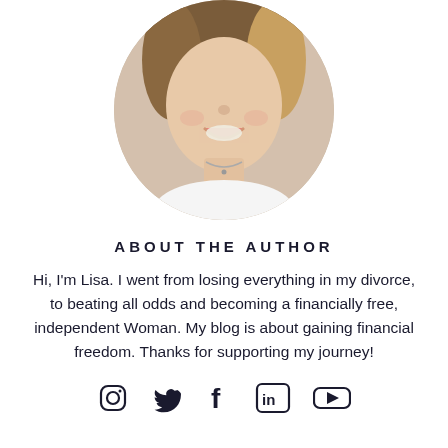[Figure (photo): Circular cropped headshot photo of a smiling woman with brown/blonde hair]
ABOUT THE AUTHOR
Hi, I'm Lisa. I went from losing everything in my divorce, to beating all odds and becoming a financially free, independent Woman. My blog is about gaining financial freedom. Thanks for supporting my journey!
[Figure (infographic): Social media icons row: Instagram, Twitter, Facebook, LinkedIn, YouTube]